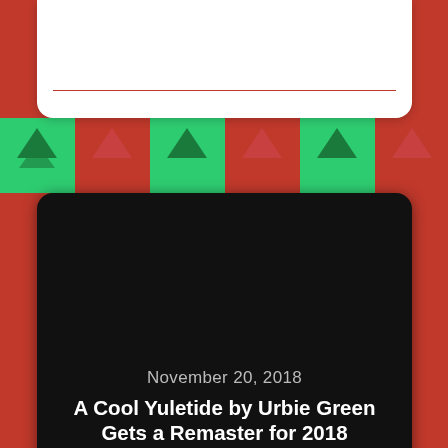[Figure (illustration): Christmas/holiday themed background with red and green triangles (Christmas trees) pattern]
[Figure (screenshot): White top card with a red horizontal line near bottom]
November 20, 2018
A Cool Yuletide by Urbie Green Gets a Remaster for 2018
[Figure (illustration): Green circle button with left arrow (back navigation)]
November 24, 2018
Watch the Complete 1968 Dean Martin...
[Figure (illustration): Dark grey circle button with upward arrow]